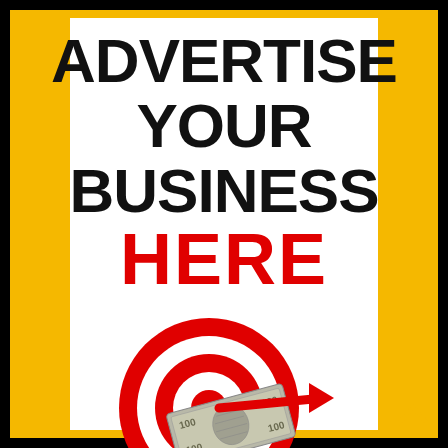[Figure (infographic): Advertising promotional image with yellow border, white background. Large bold black text reads 'ADVERTISE YOUR BUSINESS' and large bold red text reads 'HERE'. Below the text is an illustration of a red and white bullseye target with a red dart arrow hitting it, and a US $100 dollar bill overlapping the target. A small dart pin is shown below the target. A small yellow chevron/arrow appears in the bottom right corner.]